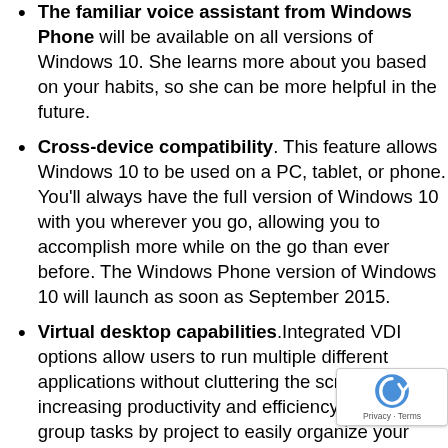The familiar voice assistant from Windows Phone will be available on all versions of Windows 10. She learns more about you based on your habits, so she can be more helpful in the future.
Cross-device compatibility. This feature allows Windows 10 to be used on a PC, tablet, or phone. You'll always have the full version of Windows 10 with you wherever you go, allowing you to accomplish more while on the go than ever before. The Windows Phone version of Windows 10 will launch as soon as September 2015.
Virtual desktop capabilities.Integrated VDI options allow users to run multiple different applications without cluttering the screen, increasing productivity and efficiency. You can group tasks by project to easily organize your